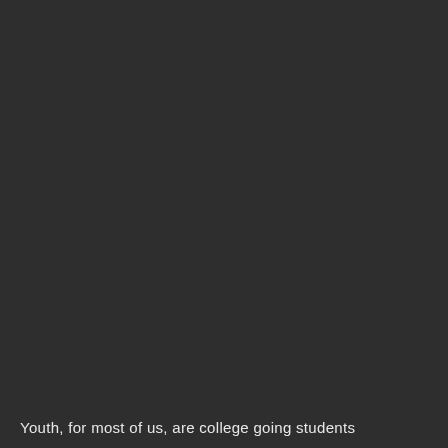Youth, for most of us, are college going students